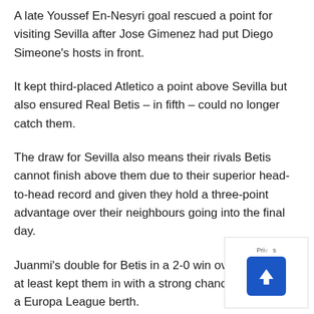A late Youssef En-Nesyri goal rescued a point for visiting Sevilla after Jose Gimenez had put Diego Simeone's hosts in front.
It kept third-placed Atletico a point above Sevilla but also ensured Real Betis – in fifth – could no longer catch them.
The draw for Sevilla also means their rivals Betis cannot finish above them due to their superior head-to-head record and given they hold a three-point advantage over their neighbours going into the final day.
Juanmi's double for Betis in a 2-0 win over Granada at least kept them in with a strong chance of claiming a Europa League berth.